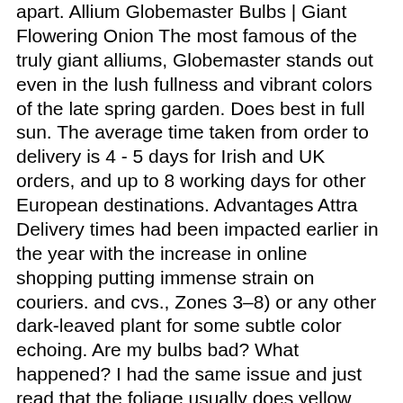apart. Allium Globemaster Bulbs | Giant Flowering Onion The most famous of the truly giant alliums, Globemaster stands out even in the lush fullness and vibrant colors of the late spring garden. Does best in full sun. The average time taken from order to delivery is 4 - 5 days for Irish and UK orders, and up to 8 working days for other European destinations. Advantages Attra Delivery times had been impacted earlier in the year with the increase in online shopping putting immense strain on couriers. and cvs., Zones 3–8) or any other dark-leaved plant for some subtle color echoing. Are my bulbs bad? What happened? I had the same issue and just read that the foliage usually does yellow and brown - even before they bloom. I love this egg-shaped flower, which tends to naturalize in my garden. Pair them with spikes or other large-leaved perennials to hide any decaying foliage. Over time, Allium Globemaster benefits from a top dressing of a 4-10-6 or 5-10-5 granular, organic fertilizer top dressing (never within the planting hole because it could cause root burn) three times a year: at fall planting time, in the early spring when the sprouts emerge and when the